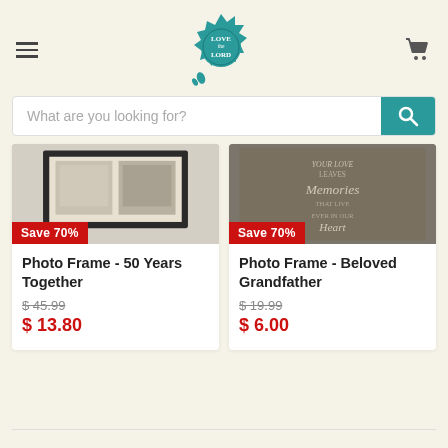Love the Lord logo, hamburger menu, cart icon
What are you looking for?
[Figure (photo): Photo frame product image with dark border, partially cropped]
Save 70%
Photo Frame - 50 Years Together
$ 45.99
$ 13.80
[Figure (photo): Photo frame with inspirational text about memories and heart]
Save 70%
Photo Frame - Beloved Grandfather
$ 19.99
$ 6.00